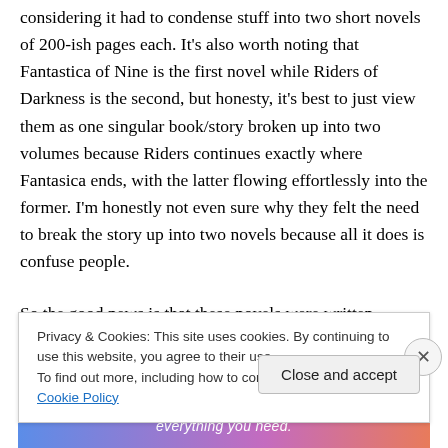considering it had to condense stuff into two short novels of 200-ish pages each. It's also worth noting that Fantastica of Nine is the first novel while Riders of Darkness is the second, but honesty, it's best to just view them as one singular book/story broken up into two volumes because Riders continues exactly where Fantasica ends, with the latter flowing effortlessly into the former. I'm honestly not even sure why they felt the need to break the story up into two novels because all it does is confuse people.
So the good news is that these novels were written
Privacy & Cookies: This site uses cookies. By continuing to use this website, you agree to their use.
To find out more, including how to control cookies, see here: Cookie Policy